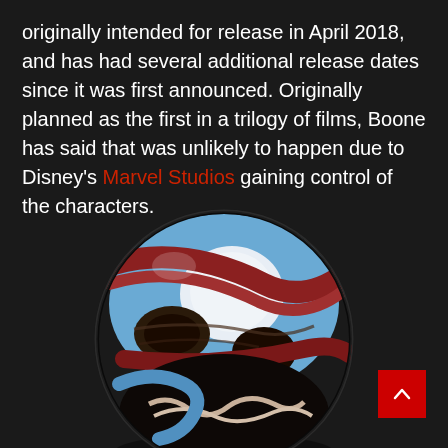originally intended for release in April 2018, and has had several additional release dates since it was first announced. Originally planned as the first in a trilogy of films, Boone has said that was unlikely to happen due to Disney's Marvel Studios gaining control of the characters.
[Figure (illustration): A stylized spherical illustration of a Marvel character face (resembling a symbiote/Venom-style character) rendered in blue, red/maroon, white, and black tones, forming a ball shape against a dark background.]